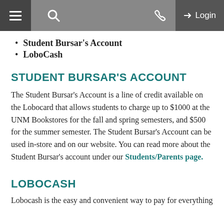Navigation bar with menu, search, phone, and login
Student Bursar's Account
LoboCash
STUDENT BURSAR'S ACCOUNT
The Student Bursar's Account is a line of credit available on the Lobocard that allows students to charge up to $1000 at the UNM Bookstores for the fall and spring semesters, and $500 for the summer semester. The Student Bursar's Account can be used in-store and on our website. You can read more about the Student Bursar's account under our Students/Parents page.
LOBOCASH
Lobocash is the easy and convenient way to pay for everything